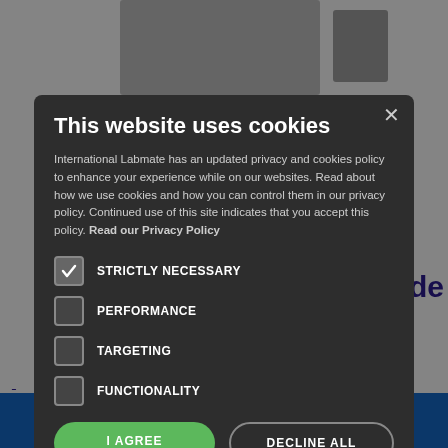[Figure (screenshot): Background webpage showing a scientific/lab website (International Labmate) with a cookie consent modal dialog overlaid. Behind the modal: grey device images at top, purple/blue headline text reading 'the crude', blue advertisement banners on the right side.]
This website uses cookies
International Labmate has an updated privacy and cookies policy to enhance your experience while on our websites. Read about how we use cookies and how you can control them in our privacy policy. Continued use of this site indicates that you accept this policy. Read our Privacy Policy
STRICTLY NECESSARY (checked)
PERFORMANCE
TARGETING
FUNCTIONALITY
I AGREE | DECLINE ALL